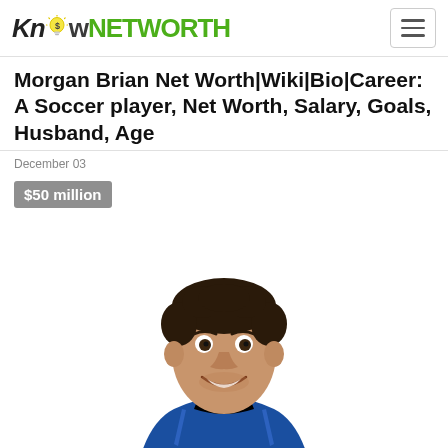KnowNETWORTH
Morgan Brian Net Worth|Wiki|Bio|Career: A Soccer player, Net Worth, Salary, Goals, Husband, Age
December 03
$50 million
[Figure (photo): A smiling man with dark curly hair wearing a blue racing suit, photographed from chest up against a white background.]